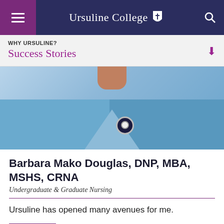Ursuline College
WHY URSULINE?
Success Stories
[Figure (photo): Photo of a person wearing blue nursing scrubs with a badge/pin, showing neck and upper chest area]
Barbara Mako Douglas, DNP, MBA, MSHS, CRNA
Undergraduate & Graduate Nursing
Ursuline has opened many avenues for me.
MORE